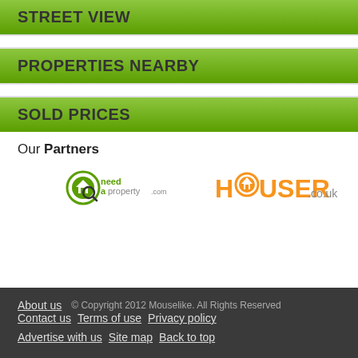STREET VIEW
PROPERTIES NEARBY
SOLD PRICES
Our Partners
[Figure (logo): needaproperty.com logo - green circular icon with house, green and grey text]
[Figure (logo): HOUSER.co.uk logo - orange text with green house icon]
About us  Contact us  © Copyright 2012 Mouselike. All Rights Reserved  Terms of use  Privacy policy  Advertise with us  Site map  Back to top